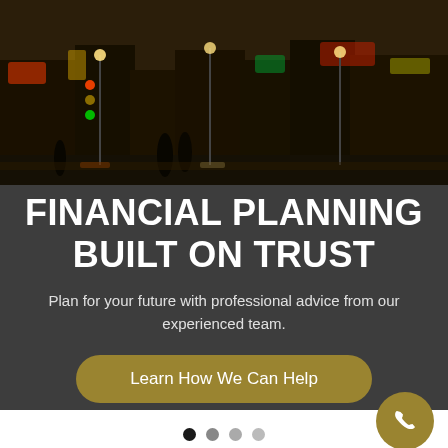[Figure (photo): City street scene at night with traffic lights, storefronts, and people silhouettes]
FINANCIAL PLANNING BUILT ON TRUST
Plan for your future with professional advice from our experienced team.
Learn How We Can Help